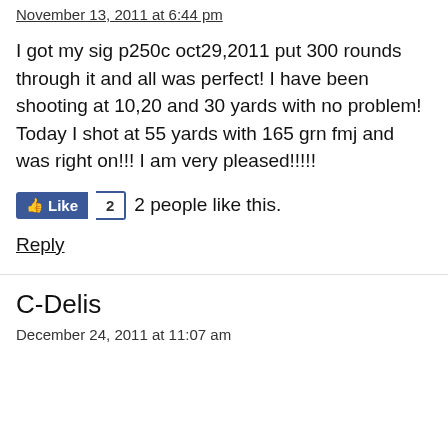November 13, 2011 at 6:44 pm
I got my sig p250c oct29,2011 put 300 rounds through it and all was perfect! I have been shooting at 10,20 and 30 yards with no problem! Today I shot at 55 yards with 165 grn fmj and was right on!!! I am very pleased!!!!!
Like 2  2 people like this.
Reply
C-Delis
December 24, 2011 at 11:07 am